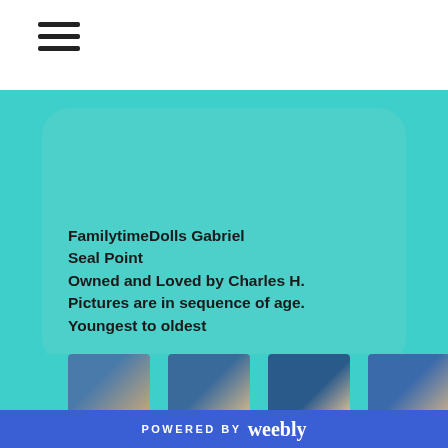[Figure (other): Hamburger menu icon (three horizontal lines) in top-left navigation bar]
FamilytimeDolls Gabriel
Seal Point
Owned and Loved by Charles H.
Pictures are in sequence of age.
Youngest to oldest
[Figure (photo): Row of five cat kitten thumbnail photos on teal background, showing a Ragdoll/Seal Point kitten at various ages from youngest to oldest]
POWERED BY weebly